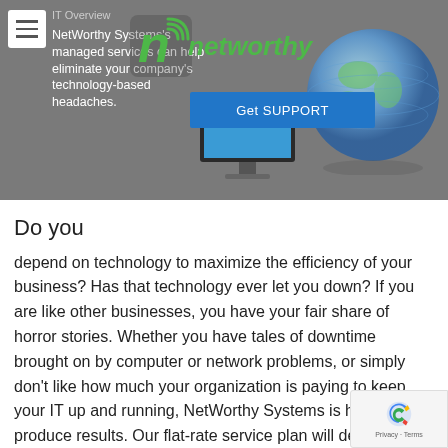[Figure (screenshot): Hero banner with NetWorthy Systems logo (green 'n' icon with 'net worthy' wordmark), a computer monitor and globe graphic on a grey background, and a blue 'Get SUPPORT' button. A hamburger menu icon is in the top left. Left side shows partial text about managed services.]
IT Overview
NetWorthy Systems's managed services can help eliminate your company's technology-based headaches.
Do you
depend on technology to maximize the efficiency of your business? Has that technology ever let you down? If you are like other businesses, you have your fair share of horror stories. Whether you have tales of downtime brought on by computer or network problems, or simply don't like how much your organization is paying to keep your IT up and running, NetWorthy Systems is here to produce results. Our flat-rate service plan will deliver your company enterprise-level IT support and solutions